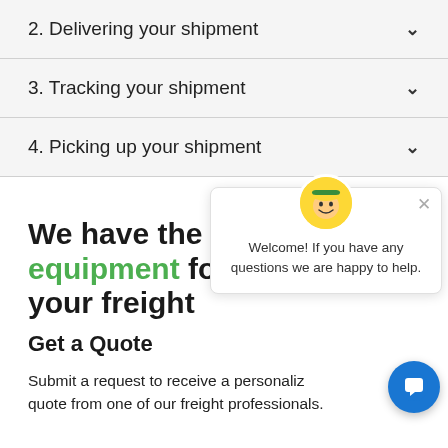2. Delivering your shipment
3. Tracking your shipment
4. Picking up your shipment
We have the equipment for your freight
Get a Quote
Submit a request to receive a personalized quote from one of our freight professionals.
Welcome! If you have any questions we are happy to help.